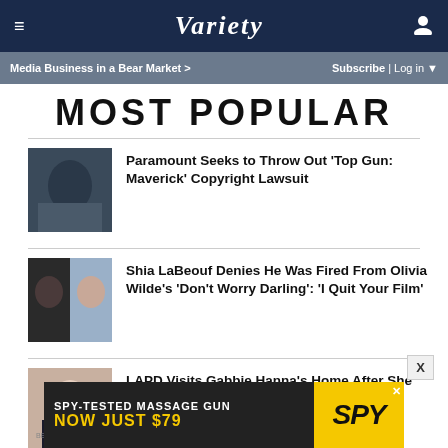≡  VARIETY  👤
Media Business in a Bear Market >    Subscribe | Log in ▼
MOST POPULAR
[Figure (photo): Movie still photo from Top Gun: Maverick showing pilot]
Paramount Seeks to Throw Out 'Top Gun: Maverick' Copyright Lawsuit
[Figure (photo): Two people side by side - Shia LaBeouf and Olivia Wilde]
Shia LaBeouf Denies He Was Fired From Olivia Wilde's 'Don't Worry Darling': 'I Quit Your Film'
[Figure (photo): Woman in black dress at Beverly event - Gabbie Hanna]
LAPD Visits Gabbie Hanna's Home After She Posted Series of Disturbing TikTok Videos
[Figure (screenshot): Advertisement: SPY-TESTED MASSAGE GUN NOW JUST $79 by SPY]